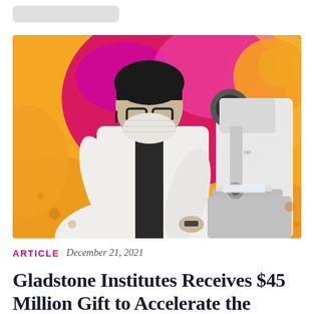[Figure (photo): A researcher in a white lab coat and face mask leaning over a microscope, against a colorful magenta/pink and orange background with abstract organic shapes]
ARTICLE   December 21, 2021
Gladstone Institutes Receives $45 Million Gift to Accelerate the